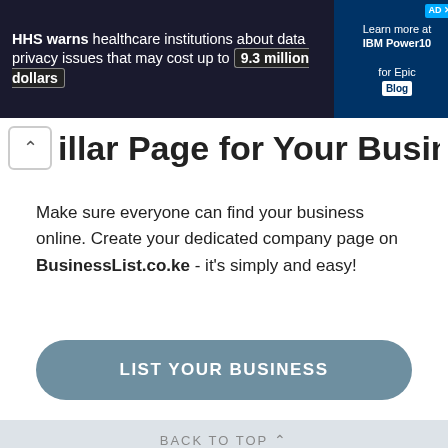[Figure (infographic): Advertisement banner: 'HHS warns healthcare institutions about data privacy issues that may cost up to 9.3 million dollars' with an image of a man and financial graphics, and IBM Power10 for Epic Blog promotion on the right.]
illar Page for Your Business?
Make sure everyone can find your business online. Create your dedicated company page on BusinessList.co.ke - it's simply and easy!
LIST YOUR BUSINESS
BACK TO TOP ⋀
LINKS
Browse Categories
Browse Locations